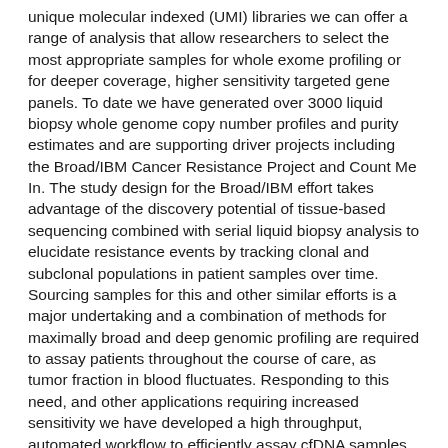unique molecular indexed (UMI) libraries we can offer a range of analysis that allow researchers to select the most appropriate samples for whole exome profiling or for deeper coverage, higher sensitivity targeted gene panels. To date we have generated over 3000 liquid biopsy whole genome copy number profiles and purity estimates and are supporting driver projects including the Broad/IBM Cancer Resistance Project and Count Me In. The study design for the Broad/IBM effort takes advantage of the discovery potential of tissue-based sequencing combined with serial liquid biopsy analysis to elucidate resistance events by tracking clonal and subclonal populations in patient samples over time. Sourcing samples for this and other similar efforts is a major undertaking and a combination of methods for maximally broad and deep genomic profiling are required to assay patients throughout the course of care, as tumor fraction in blood fluctuates. Responding to this need, and other applications requiring increased sensitivity we have developed a high throughput, automated workflow to efficiently assay cfDNA samples with lower tumor content. Benchmarking data using healthy donor pooled cfDNA samples indicates our assay is capable of detecting > 90% of variants present at ~1% minor allele fraction with less than 1 false positive variant called per